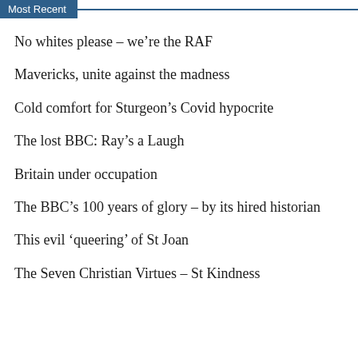Most Recent
No whites please – we're the RAF
Mavericks, unite against the madness
Cold comfort for Sturgeon's Covid hypocrite
The lost BBC: Ray's a Laugh
Britain under occupation
The BBC's 100 years of glory – by its hired historian
This evil 'queering' of St Joan
The Seven Christian Virtues – St Kindness